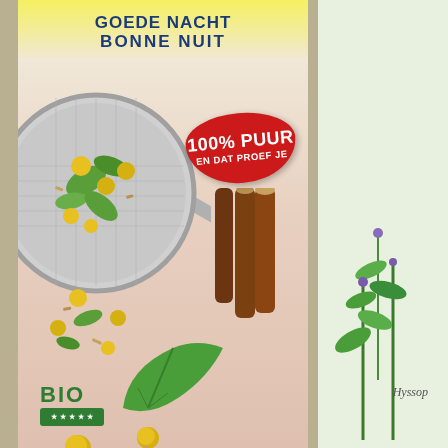[Figure (photo): Product packaging photo of a herbal tea box. Left box shows 'GOEDE NACHT / BONNE NUIT' (Good Night) herbal tea with an image of herbs and botanicals spilling from a metallic strainer/sieve, licorice sticks, a green leaf, and yellow chamomile-like flower buds. A red badge reads '100% PUUR EN DAT PROEF JE'. A BIO (organic) logo appears at the bottom. A second box is partially visible on the right with illustrated herbs.]